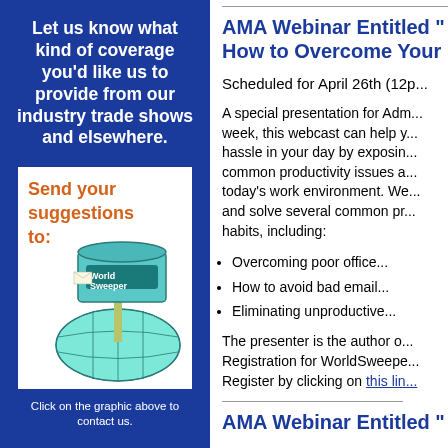Let us know what kind of coverage you'd like us to provide from our industry trade shows and elsewhere.
[Figure (illustration): Mailbox illustration with text 'Send your suggestions to:' and a globe-shaped mailbox labeled 'World Sweeper']
Click on the graphic above to contact us.
AMA Webinar Entitled "How to Overcome Your
Scheduled for April 26th (12p...
A special presentation for Adm... week, this webcast can help y... hassle in your day by exposin... common productivity issues a... today's work environment. We... and solve several common pr... habits, including:
Overcoming poor office...
How to avoid bad email...
Eliminating unproductive...
The presenter is the author o... Registration for WorldSweepe... Register by clicking on this link...
AMA Webinar Entitled "